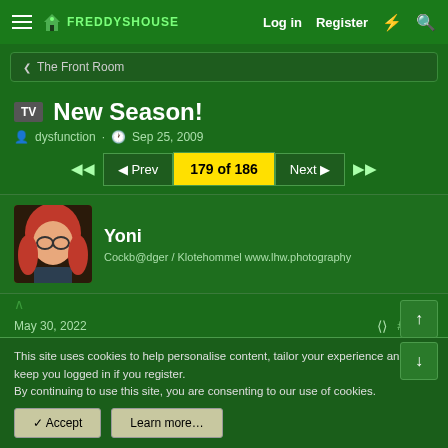FreddysHouse — Log in  Register
< The Front Room
TV New Season!
dysfunction · Sep 25, 2009
◄◄  ◄ Prev  179 of 186  Next ►  ►►
Yoni
Cockb@dger / Klotehommel www.lhw.photography
May 30, 2022  #5,341
This site uses cookies to help personalise content, tailor your experience and to keep you logged in if you register.
By continuing to use this site, you are consenting to our use of cookies.
✓ Accept   Learn more...